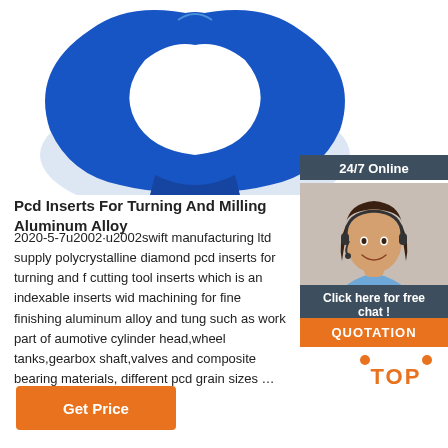[Figure (photo): Blue silicone/rubber wristband or ring-shaped product on white background]
[Figure (photo): 24/7 Online customer service agent - woman with headset smiling, with '24/7 Online' header, 'Click here for free chat!' and orange QUOTATION button]
Pcd Inserts For Turning And Milling Aluminum Alloy
2020-5-7u2002·u2002swift manufacturing ltd supply with polycrystalline diamond pcd inserts for turning and f cutting tool inserts which is an indexable inserts wid machining for fine finishing aluminum alloy and tung such as work part of aumotive cylinder head,wheel tanks,gearbox shaft,valves and composite bearing materials, different pcd grain sizes …
[Figure (other): Orange TOP icon with dots arranged above the word TOP in orange]
[Figure (other): Orange 'Get Price' button]